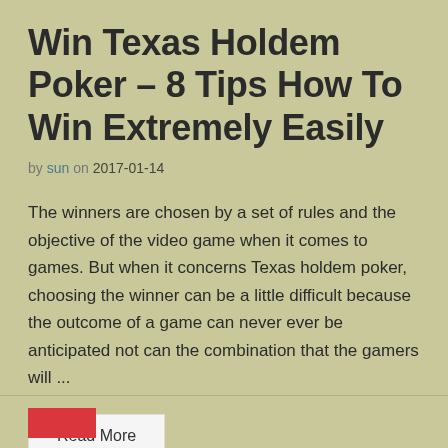Win Texas Holdem Poker – 8 Tips How To Win Extremely Easily
by sun on 2017-01-14
The winners are chosen by a set of rules and the objective of the video game when it comes to games. But when it concerns Texas holdem poker, choosing the winner can be a little difficult because the outcome of a game can never ever be anticipated not can the combination that the gamers will ...
Read More